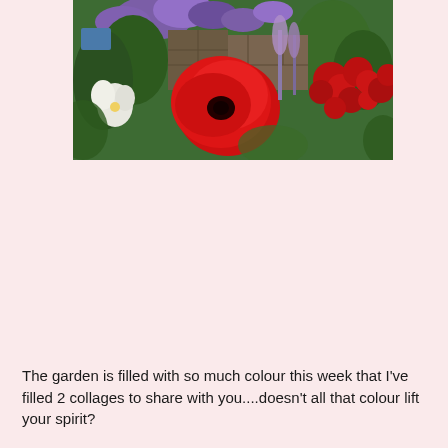[Figure (photo): A garden photo showing colourful flowers including a large red poppy in the centre, purple/lavender flowers in the background, red roses on the right, white flowers on the left, and lush green foliage throughout.]
The garden is filled with so much colour this week that I've filled 2 collages to share with you....doesn't all that colour lift your spirit?